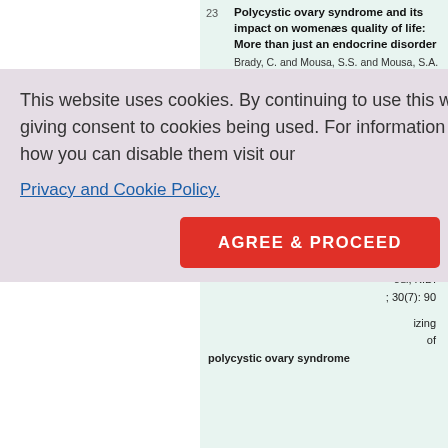23 Polycystic ovary syndrome and its impact on womenæs quality of life: More than just an endocrine disorder. Brady, C. and Mousa, S.S. and Mousa, S.A. Drug, Healthcare and Patient Safety. 2009; 1(1): 9-15 [Pubmed]
24 The Role of Insulin-Sensitizing Agents in the Treatment of Polycystic Ovary Syndrome. Niki Katsiki,Eleni Georgiadou,Apostolos I.
This website uses cookies. By continuing to use this website you are giving consent to cookies being used. For information on cookies and how you can disable them visit our Privacy and Cookie Policy.
AGREE & PROCEED